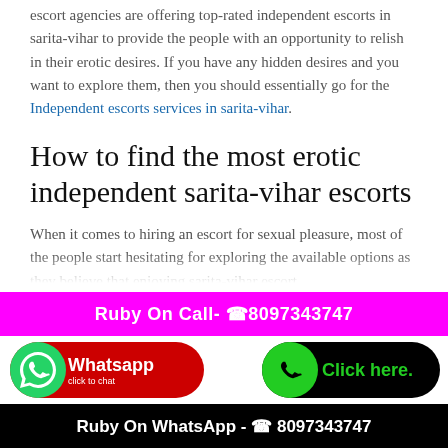escort agencies are offering top-rated independent escorts in sarita-vihar to provide the people with an opportunity to relish in their erotic desires. If you have any hidden desires and you want to explore them, then you should essentially go for the Independent escorts services in sarita-vihar.
How to find the most erotic independent sarita-vihar escorts
When it comes to hiring an escort for sexual pleasure, most of the people start hesitating for exploring the available options as they believe that enjoying sarita-vihar escort
Ruby On Call- ☎8097343747
[Figure (infographic): WhatsApp click to chat button with red background and white phone icon]
[Figure (infographic): Click here. button with black background and green phone icon]
Ruby On WhatsApp - ☎ 8097343747